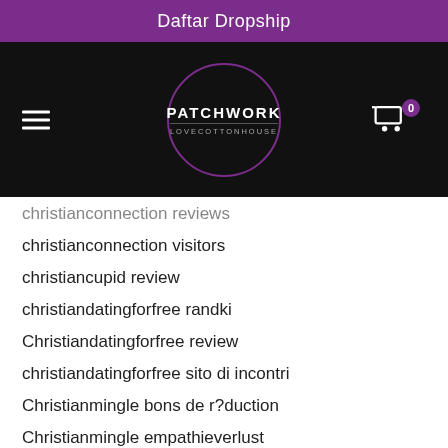Daftar Dropship
[Figure (logo): Patchwork LoveCottonHouse logo in a purple circle on black navigation bar, with hamburger menu on left and cart icon with badge '0' on right]
christianconnection reviews
christianconnection visitors
christiancupid review
christiandatingforfree randki
Christiandatingforfree review
christiandatingforfree sito di incontri
Christianmingle bons de r?duction
Christianmingle empathieverlust
Christianmingle co gratis?